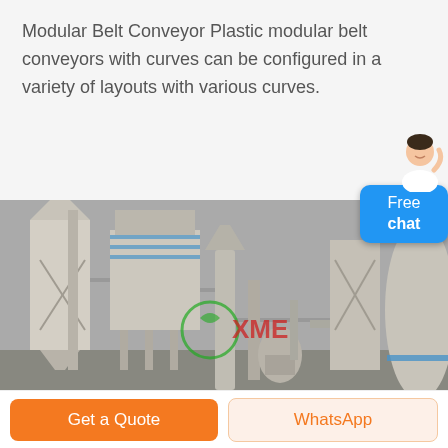Modular Belt Conveyor Plastic modular belt conveyors with curves can be configured in a variety of layouts with various curves.
[Figure (photo): Industrial facility with large silos, dust collectors, and processing equipment. XME company watermark visible in green/red in the center of the image.]
Free chat
Get a Quote
WhatsApp